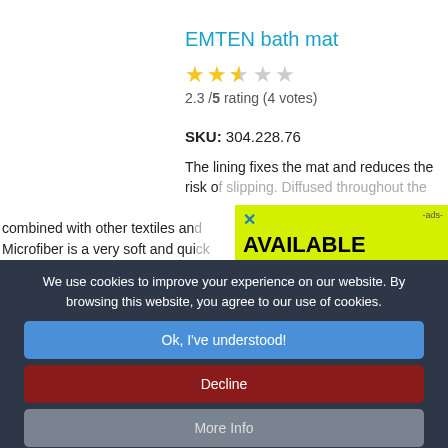EMTEN bath mat
2.3 /5 rating (4 votes)
SKU: 304.228.76
The lining fixes the mat and reduces the risk of slipping. Diffused throughout the combined with other textiles and Microfiber is a very soft and qui
[Figure (screenshot): Advertising banner overlay with yellow background reading AVAILABLE REBATES IN YOUR STATE]
We use cookies to improve your experience on our website. By browsing this website, you agree to our use of cookies.
Ok, I've understood!
Decline
More Info